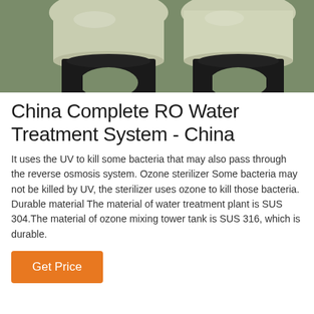[Figure (photo): Two large green/cream industrial water filter tanks on black stands, photographed in an industrial facility.]
China Complete RO Water Treatment System - China
It uses the UV to kill some bacteria that may also pass through the reverse osmosis system. Ozone sterilizer Some bacteria may not be killed by UV, the sterilizer uses ozone to kill those bacteria. Durable material The material of water treatment plant is SUS 304.The material of ozone mixing tower tank is SUS 316, which is durable.
Get Price